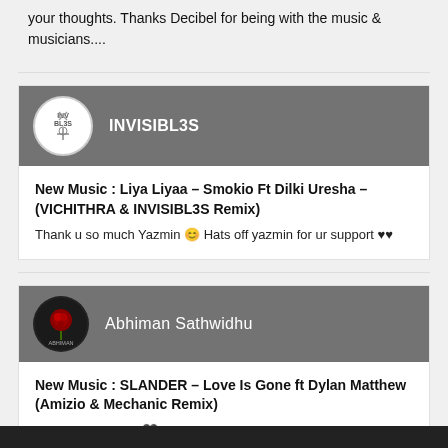your thoughts. Thanks Decibel for being with the music & musicians....
[Figure (screenshot): INVISIBL3S user avatar with logo]
INVISIBL3S
New Music : Liya Liyaa – Smokio Ft Dilki Uresha – (VICHITHRA & INVISIBL3S Remix)
Thank u so much Yazmin 😊 Hats off yazmin for ur support ♥♥
[Figure (screenshot): Abhiman Sathwidhu user avatar with red logo]
Abhiman Sathwidhu
New Music : SLANDER – Love Is Gone ft Dylan Matthew (Amizio & Mechanic Remix)
Thank You Yazmin🖤♥ And Congratulations Mechanic and Amizio♥